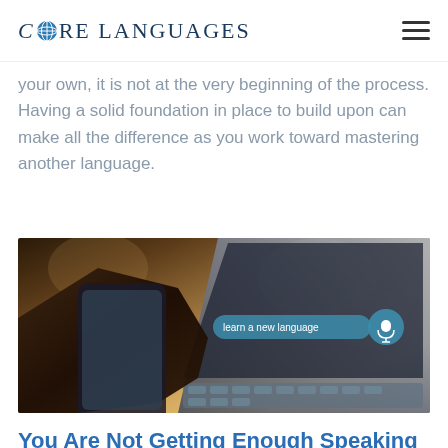CORE LANGUAGES
your own, it is not at the very beginning of the process. Having a solid foundation in place to build upon can make all the difference as you work toward mastering another language.
[Figure (photo): A hand holding a smartphone near a laptop keyboard with a 'learn a new language' voice search bubble overlay]
You Are Not Getting Enough Speaking Practice